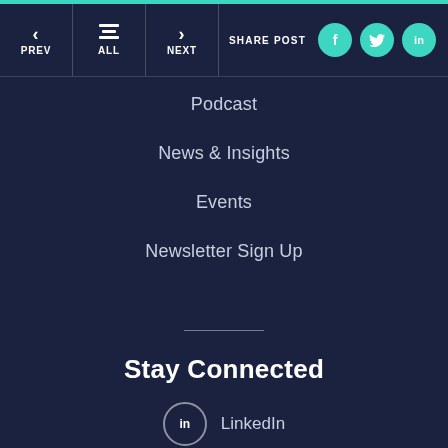PREV | ALL | NEXT | SHARE POST
Podcast
News & Insights
Events
Newsletter Sign Up
Stay Connected
LinkedIn
Facebook
Twitter